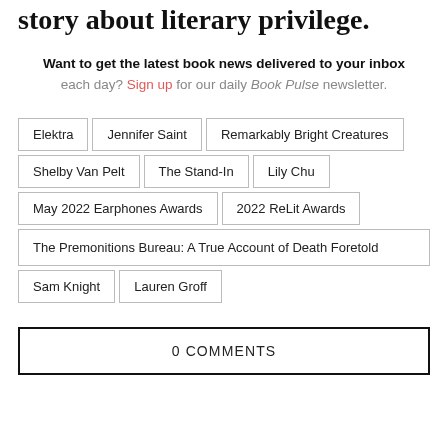story about literary privilege.
Want to get the latest book news delivered to your inbox each day? Sign up for our daily Book Pulse newsletter.
Elektra
Jennifer Saint
Remarkably Bright Creatures
Shelby Van Pelt
The Stand-In
Lily Chu
May 2022 Earphones Awards
2022 ReLit Awards
The Premonitions Bureau: A True Account of Death Foretold
Sam Knight
Lauren Groff
0 COMMENTS